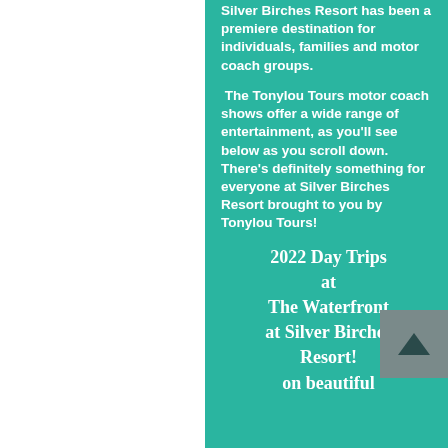Silver Birches Resort has been a premiere destination for individuals, families and motor coach groups.
The Tonylou Tours motor coach shows offer a wide range of entertainment, as you'll see below as you scroll down. There's definitely something for everyone at Silver Birches Resort brought to you by Tonylou Tours!
2022 Day Trips at The Waterfront at Silver Birches Resort! on beautiful